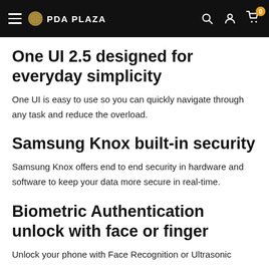PDA PLAZA
One UI 2.5 designed for everyday simplicity
One UI is easy to use so you can quickly navigate through any task and reduce the overload.
Samsung Knox built-in security
Samsung Knox offers end to end security in hardware and software to keep your data more secure in real-time.
Biometric Authentication unlock with face or finger
Unlock your phone with Face Recognition or Ultrasonic